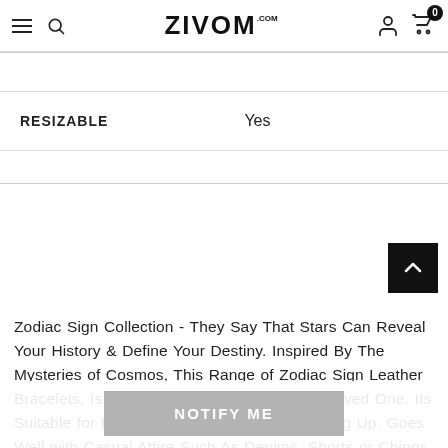ZIVOM
| RESIZABLE | Yes |
| --- | --- |
| RESIZABLE | Yes |
Zodiac Sign Collection - They Say That Stars Can Reveal Your History & Define Your Destiny. Inspired By The Mysteries of Cosmos, This Range of Zodiac Sign Leather Bracelets, Is An Ideal Birthday Gift for Your Loved One. Its Suitable for Boys and Girls Who Love Dressing Up. Goes Well with Casual Attire Such As Denims, Shorts or Chinos
NOTIFY ME